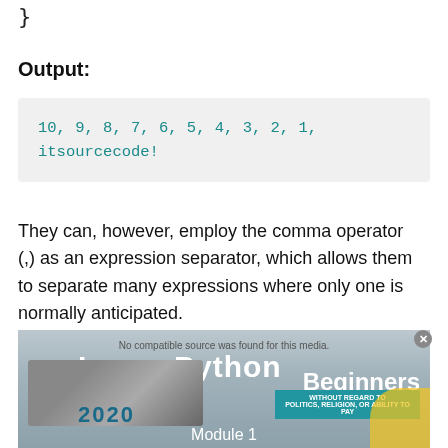}
Output:
10, 9, 8, 7, 6, 5, 4, 3, 2, 1, itsourcecode!
They can, however, employ the comma operator (,) as an expression separator, which allows them to separate many expressions where only one is normally anticipated.
[Figure (screenshot): Advertisement overlay showing 'Learn Python Tutorial for Beginners 2020 Module 1' with an airplane image and 'Without Regard To' banner, with a media compatibility notice.]